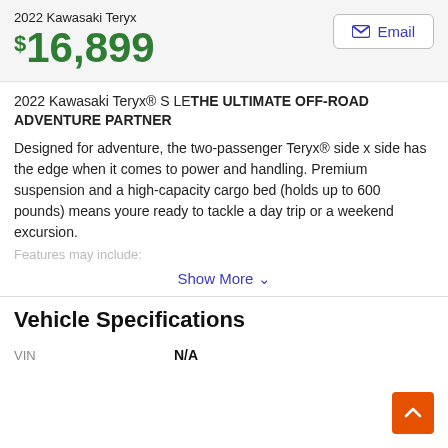2022 Kawasaki Teryx
$16,899
2022 Kawasaki Teryx® S LE THE ULTIMATE OFF-ROAD ADVENTURE PARTNER
Designed for adventure, the two-passenger Teryx® side x side has the edge when it comes to power and handling. Premium suspension and a high-capacity cargo bed (holds up to 600 pounds) means youre ready to tackle a day trip or a weekend excursion.
Features may include:
Show More
Vehicle Specifications
| VIN | N/A |
| --- | --- |
| VIN | N/A |